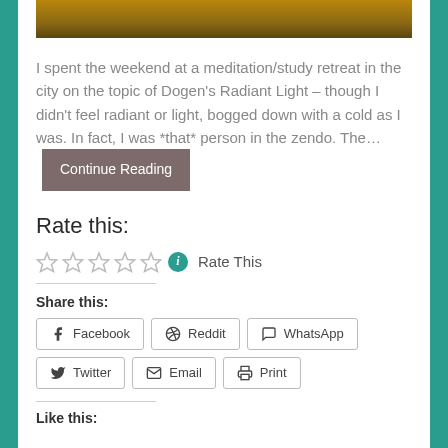[Figure (photo): Partial photo strip at top of page, brownish-gold tones]
I spent the weekend at a meditation/study retreat in the city on the topic of Dogen's Radiant Light – though I didn't feel radiant or light, bogged down with a cold as I was. In fact, I was *that* person in the zendo. The… Continue Reading
Rate this:
★★★★★ ℹ Rate This
Share this:
Facebook | Reddit | WhatsApp | Twitter | Email | Print
Like this: